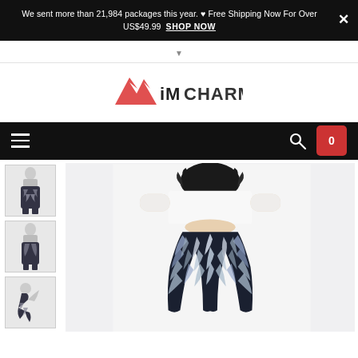We sent more than 21,984 packages this year. ♥ Free Shipping Now For Over US$49.99  SHOP NOW  ×
[Figure (logo): iMCHARMS brand logo with red angular arrow marks on the left and dark text]
[Figure (screenshot): E-commerce website navigation bar with hamburger menu, search icon, and cart icon showing 0 items]
[Figure (photo): Product page showing patterned yoga leggings with wing/feather design. Main large image shows a woman from behind wearing the leggings. Three thumbnail images on the left show different views.]